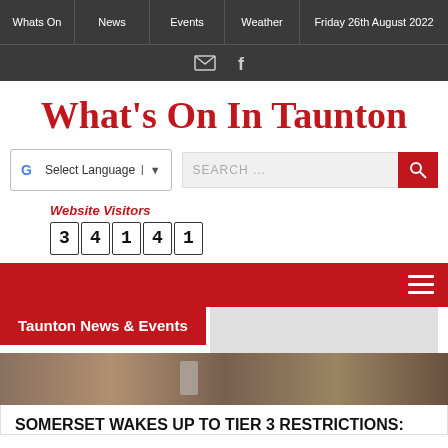Whats On | News | Events | Weather | Friday 26th August 2022
What's On In Taunton
Select Language
SEARCH ...
Website Visitors 34141
Taunton News & Events
SOMERSET WAKES UP TO TIER 3 RESTRICTIONS: